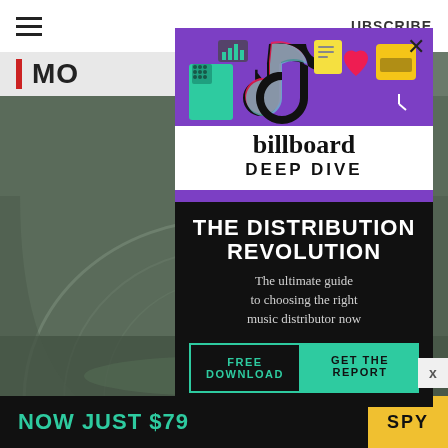SUBSCRIBE
MO
[Figure (screenshot): Billboard Deep Dive advertisement modal. Purple top section with TikTok logo and music/tech icons illustration. White billboard logo. Black bottom section with 'THE DISTRIBUTION REVOLUTION' headline, subtitle 'The ultimate guide to choosing the right music distributor now', and buttons 'FREE DOWNLOAD' and 'GET THE REPORT'. Close X button in top right.]
billboard
DEEP DIVE
THE DISTRIBUTION REVOLUTION
The ultimate guide to choosing the right music distributor now
FREE DOWNLOAD
GET THE REPORT
NOW JUST $79
SPY